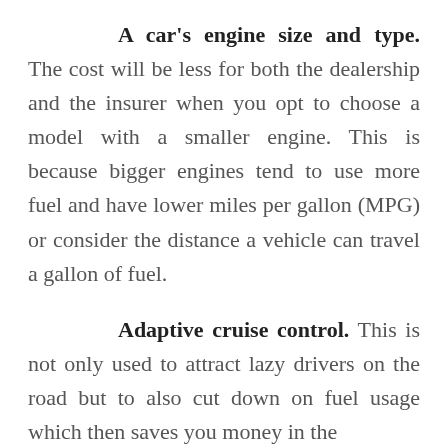A car's engine size and type. The cost will be less for both the dealership and the insurer when you opt to choose a model with a smaller engine. This is because bigger engines tend to use more fuel and have lower miles per gallon (MPG) or consider the distance a vehicle can travel a gallon of fuel.
Adaptive cruise control. This is not only used to attract lazy drivers on the road but to also cut down on fuel usage which then saves you money in the